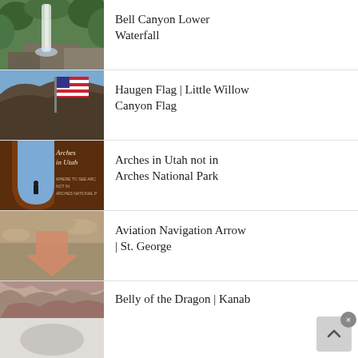Bell Canyon Lower Waterfall
[Figure (photo): Waterfall in a green canyon setting]
Haugen Flag | Little Willow Canyon Flag
[Figure (photo): American flag on a rocky cliff face with blue sky]
Arches in Utah not in Arches National Park
[Figure (photo): Book cover: Arches in Utah not in Arches National Park - Where to see arches not in Arches National Park]
Aviation Navigation Arrow | St. George
[Figure (photo): A pink concrete arrow on rocky desert ground pointing downward]
Belly of the Dragon | Kanab
[Figure (photo): Colorful swirling rock formation, partially visible]